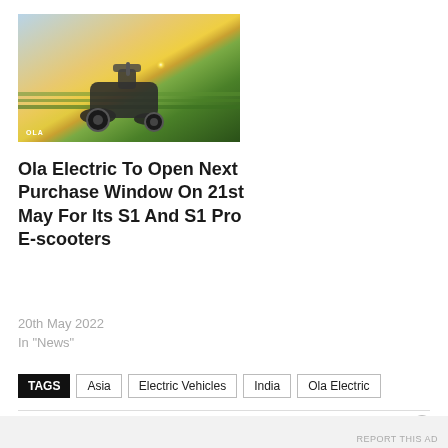[Figure (photo): Ola electric scooter parked in a green field at sunset with golden sky, OLA watermark in bottom-left corner]
Ola Electric To Open Next Purchase Window On 21st May For Its S1 And S1 Pro E-scooters
20th May 2022
In "News"
TAGS  Asia  Electric Vehicles  India  Ola Electric
Advertisements
REPORT THIS AD